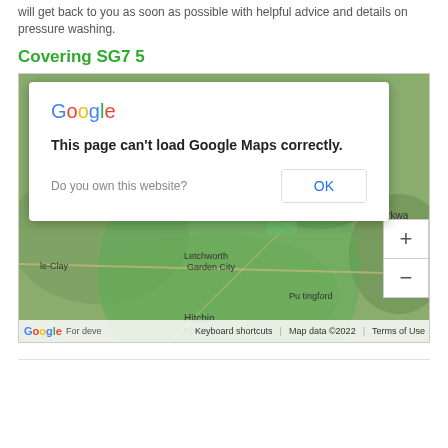will get back to you as soon as possible with helpful advice and details on pressure washing.
Covering SG7 5
[Figure (screenshot): A Google Maps embed showing a map of the Letchworth Garden City / Hitchin / Barkway area in Hertfordshire, England, with a green circle overlay indicating coverage of SG7 5. A Google Maps error dialog is displayed over the map: 'This page can't load Google Maps correctly.' with an OK button and 'Do you own this website?' text. Map footer shows Google logo, 'For deve...', Keyboard shortcuts, Map data ©2022, Terms of Use.]